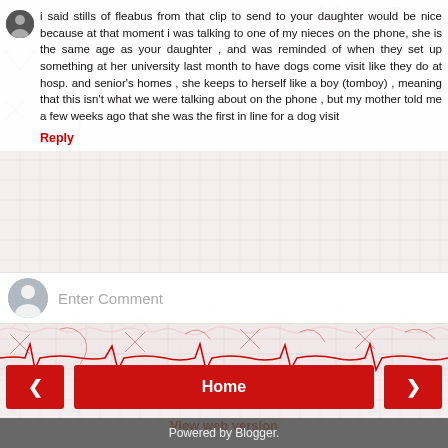i said stills of fleabus from that clip to send to your daughter would be nice because at that moment i was talking to one of my nieces on the phone, she is the same age as your daughter , and was reminded of when they set up something at her university last month to have dogs come visit like they do at hosp. and senior's homes , she keeps to herself like a boy (tomboy) , meaning that this isn't what we were talking about on the phone , but my mother told me a few weeks ago that she was the first in line for a dog visit
Reply
Enter Comment
Home
View web version
Powered by Blogger.